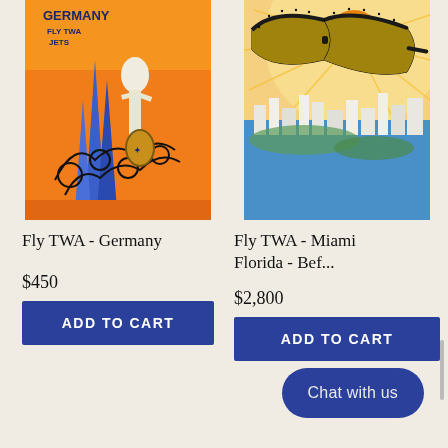[Figure (illustration): Vintage travel poster: Fly TWA Jets - Germany. Orange background with ornate ironwork, statue, and stylized blue spires. Text: GERMANY FLY TWA JETS]
Fly TWA - Germany
$450
ADD TO CART
[Figure (illustration): Vintage travel poster: Fly TWA - Miami Florida. Large cat-eye sunglasses over Miami skyline and beach with sun and palm trees.]
Fly TWA - Miami Florida - Bef...
$2,800
ADD TO CART
Chat with us